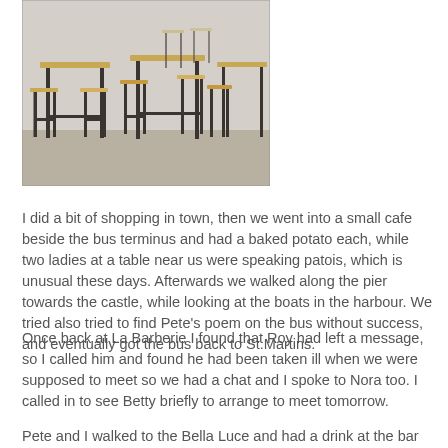[Figure (photo): Interior photo of a cafe or bar showing high bar stools with wooden seats and dark metal frames arranged around tall tables. The setting appears industrial with concrete floors.]
I did a bit of shopping in town, then we went into a small cafe beside the bus terminus and had a baked potato each, while two ladies at a table near us were speaking patois, which is unusual these days. Afterwards we walked along the pier towards the castle, while looking at the boats in the harbour. We tried also tried to find Pete's poem on the bus without success, and eventually got the bus back to St.Martins.
Once back at La Barberie I found that Roy had left a message, so I called him and found he had been taken ill when we were supposed to meet so we had a chat and I spoke to Nora too. I called in to see Betty briefly to arrange to meet tomorrow.
Pete and I walked to the Bella Luce and had a drink at the bar before having a nice meal there. They have altered the